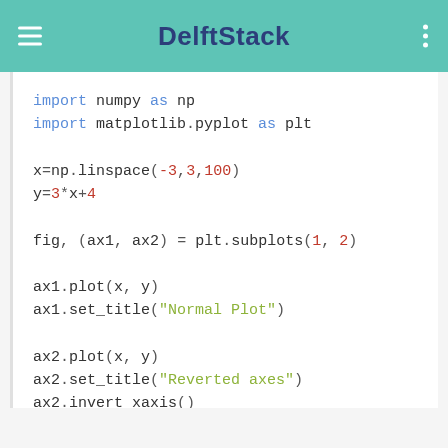DelftStack
import numpy as np
import matplotlib.pyplot as plt

x=np.linspace(-3,3,100)
y=3*x+4

fig, (ax1, ax2) = plt.subplots(1, 2)

ax1.plot(x, y)
ax1.set_title("Normal Plot")

ax2.plot(x, y)
ax2.set_title("Reverted axes")
ax2.invert_xaxis()
ax2.invert_yaxis()